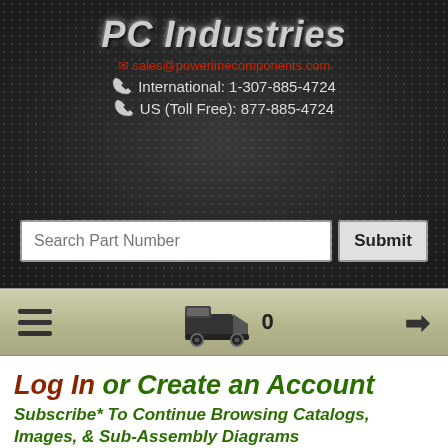PC Industries
sales@powerlinecomponents.com
International: 1-307-885-4724
US (Toll Free): 877-885-4724
Log In or Create an Account
Subscribe* To Continue Browsing Catalogs, Images, & Sub-Assembly Diagrams
Free Registration Includes:
Generate quotes with the Insta-Quote system